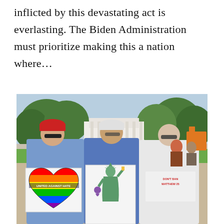inflicted by this devastating act is everlasting. The Biden Administration must prioritize making this a nation where…
[Figure (photo): Three people standing outdoors near the White House, holding protest signs. The person on the left holds a rainbow heart sign reading 'UNITED AGAINST HATE', the person in the middle holds a sign depicting the Statue of Liberty embracing a figure, and the person on the right wears a white apron reading 'DON'T BAN MATTHEW 25'. Trees and the White House are visible in the background.]